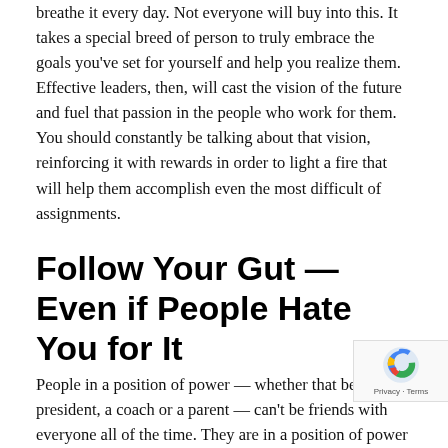breathe it every day. Not everyone will buy into this. It takes a special breed of person to truly embrace the goals you've set for yourself and help you realize them. Effective leaders, then, will cast the vision of the future and fuel that passion in the people who work for them. You should constantly be talking about that vision, reinforcing it with rewards in order to light a fire that will help them accomplish even the most difficult of assignments.
Follow Your Gut — Even if People Hate You for It
People in a position of power — whether that be the president, a coach or a parent — can't be friends with everyone all of the time. They are in a position of power to make the tough calls that